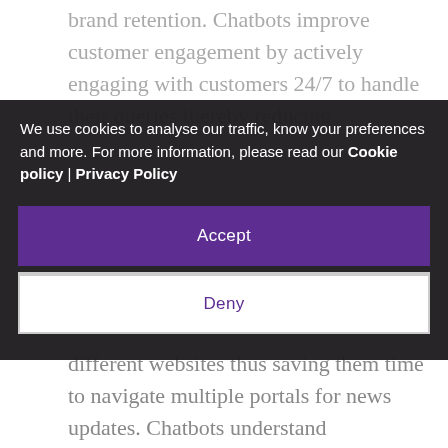brand retention. Chatbots improve customer engagement by actively engaging with customers 24/7 to handle their queries thereby reducing
We use cookies to analyse our traffic, know your preferences and more. For more information, please read our Cookie policy | Privacy Policy
Accept
Deny
different websites thus saving them time to navigate multiple portals for news updates. Chatbots understand